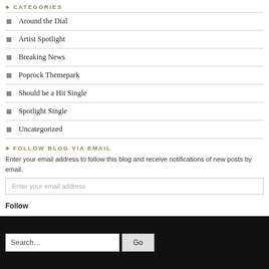CATEGORIES
Around the Dial
Artist Spotlight
Breaking News
Poprock Themepark
Should be a Hit Single
Spotlight Single
Uncategorized
FOLLOW BLOG VIA EMAIL
Enter your email address to follow this blog and receive notifications of new posts by email.
Enter your email address
Follow
Search... Go